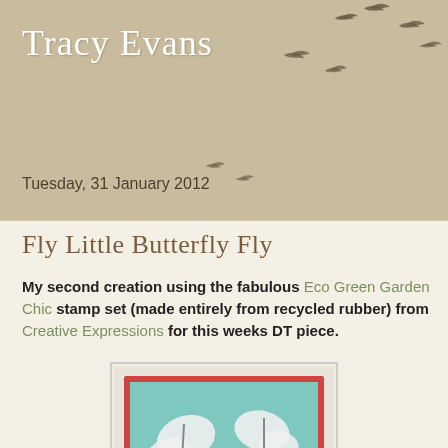Tracy Evans
Tuesday, 31 January 2012
Fly Little Butterfly Fly
My second creation using the fabulous Eco Green Garden Chic stamp set (made entirely from recycled rubber) from Creative Expressions for this weeks DT piece.
[Figure (photo): A handmade greeting card with butterfly stamps on a teal/aqua background, framed with red borders. Multiple white butterfly silhouettes and one brown/orange butterfly at the bottom, with decorative pin embellishments in the center.]